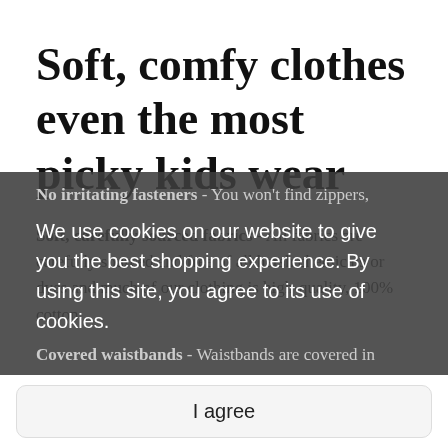Soft, comfy clothes even the most picky kids wear
Soft, carefully sourced fabrics - All fabrics are carefully sourced and free of all harsh chemicals or dyes and much of our clothing is high-quality, 100% cotton.
No irritating fasteners - You won't find zippers,
We use cookies on our website to give you the best shopping experience. By using this site, you agree to its use of cookies.
Covered waistbands - Waistbands are covered in
I agree